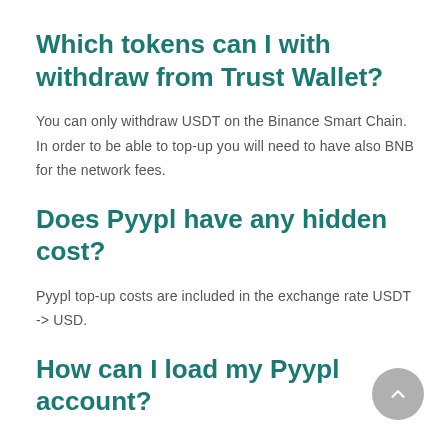Which tokens can I with withdraw from Trust Wallet?
You can only withdraw USDT on the Binance Smart Chain. In order to be able to top-up you will need to have also BNB for the network fees.
Does Pyypl have any hidden cost?
Pyypl top-up costs are included in the exchange rate USDT -> USD.
How can I load my Pyypl account?